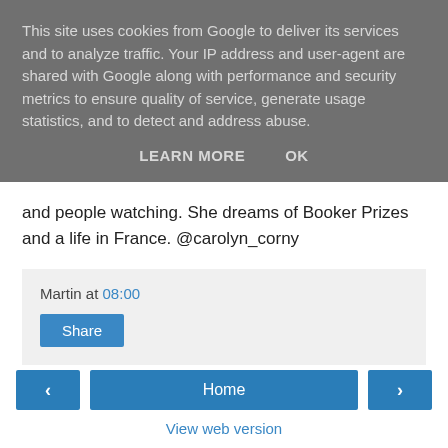This site uses cookies from Google to deliver its services and to analyze traffic. Your IP address and user-agent are shared with Google along with performance and security metrics to ensure quality of service, generate usage statistics, and to detect and address abuse.
LEARN MORE    OK
and people watching. She dreams of Booker Prizes and a life in France. @carolyn_corny
Martin at 08:00
Share
‹  Home  ›
View web version
Powered by Blogger.